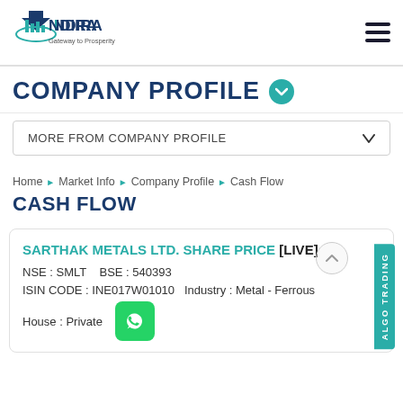[Figure (logo): Indira logo with arrow and text 'INDIRA Gateway to Prosperity']
COMPANY PROFILE
MORE FROM COMPANY PROFILE
Home ► Market Info ► Company Profile ► Cash Flow
CASH FLOW
SARTHAK METALS LTD. SHARE PRICE [LIVE]
NSE : SMLT    BSE : 540393
ISIN CODE : INE017W01010    Industry : Metal - Ferrous
House : Private